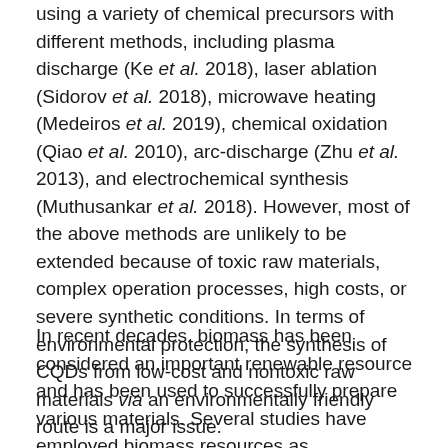using a variety of chemical precursors with different methods, including plasma discharge (Ke et al. 2018), laser ablation (Sidorov et al. 2018), microwave heating (Medeiros et al. 2019), chemical oxidation (Qiao et al. 2010), arc-discharge (Zhu et al. 2013), and electrochemical synthesis (Muthusankar et al. 2018). However, most of the above methods are unlikely to be extended because of toxic raw materials, complex operation processes, high costs, or severe synthetic conditions. In terms of environmental protection, the synthesis of CQDs from low-cost and nontoxic raw materials via an environmentally friendly route is a major issue.
In recent decades, biomass has been considered an important renewable resource and has been used to successfully prepare various materials. Several studies have employed biomass resources as